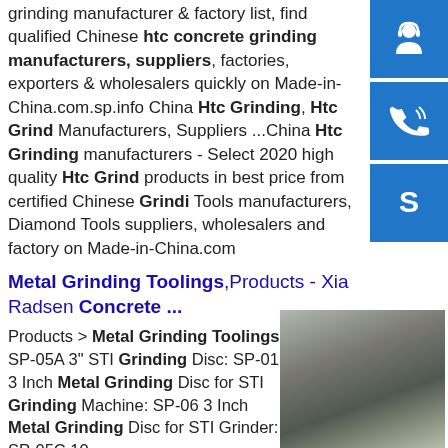grinding manufacturer & factory list, find qualified Chinese htc concrete grinding manufacturers, suppliers, factories, exporters & wholesalers quickly on Made-in-China.com.sp.info China Htc Grinding, Htc Grinding Manufacturers, Suppliers ...China Htc Grinding manufacturers - Select 2020 high quality Htc Grinding products in best price from certified Chinese Grinding Tools manufacturers, Diamond Tools suppliers, wholesalers and factory on Made-in-China.com
Metal Grinding Toolings,Products - Xia Radsen Concrete ...
Products > Metal Grinding Toolings. SP-05A 3" STI Grinding Disc: SP-01 3 Inch Metal Grinding Disc for STI Grinding Machine: SP-06 3 Inch Metal Grinding Disc for STI Grinder: SP-05C 10
[Figure (photo): Stacked metal sheets or plates viewed from an angle, industrial setting]
[Figure (illustration): Blue sidebar icon: headset/customer support icon]
[Figure (illustration): Blue sidebar icon: phone/call icon]
[Figure (illustration): Blue sidebar icon: Skype logo icon]